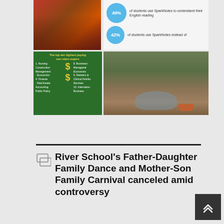[Figure (photo): Sports team photo, players in red uniforms celebrating]
[Figure (infographic): SparkNotes statistics: 49% of students use SparkNotes to understand their English reading; 42% of students use SparkNotes instead of...]
[Figure (infographic): The top ten highest paying non-stem majors infographic on green background with gold dollar signs. Lists: 1. Nursing, Construction Management, Economics, 4. Finance, Real Estate, Accounting, Public Policy on left; 8. Business/Managerial Economics, 9. Dietetics & Clinical Nutrition Services, 10. International Business on right]
[Figure (photo): River or creek path with trees and a boat, nature scene]
River School's Father-Daughter Family Dance and Mother-Son Family Carnival canceled amid controversy